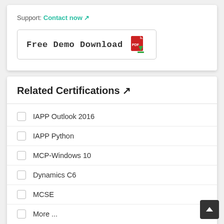Support: Contact now ↗
[Figure (screenshot): Free Demo Download button with PDF icon]
Related Certifications ↗
▸  IAPP Outlook 2016
▸  IAPP Python
▸  MCP-Windows 10
▸  Dynamics C6
▸  MCSE
▸  More ...